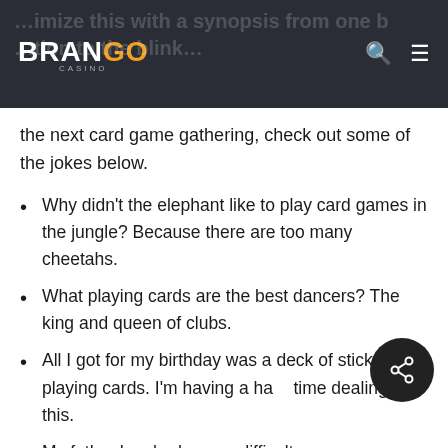BRANGO CASINO
the next card game gathering, check out some of the jokes below.
Why didn't the elephant like to play card games in the jungle? Because there are too many cheetahs.
What playing cards are the best dancers? The king and queen of clubs.
All I got for my birthday was a deck of sticky playing cards. I'm having a hard time dealing with this.
My father has had a very difficult...